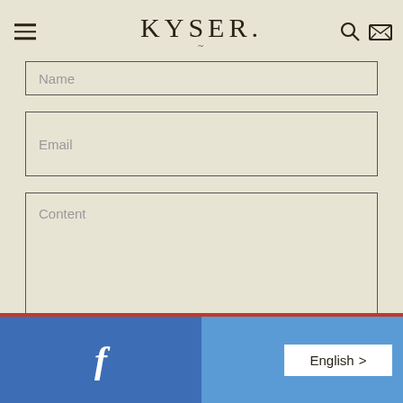KYSER
Name
Email
Content
All comments are moderated before being published
f  English >